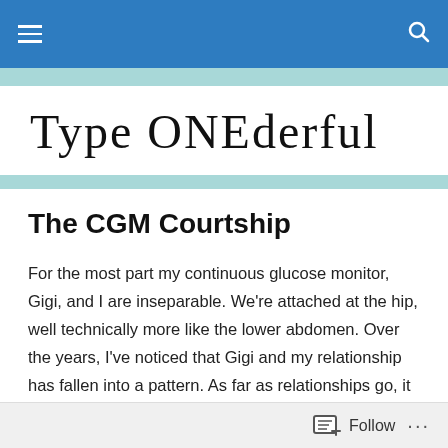Type ONEderful
Type ONEderful
The CGM Courtship
For the most part my continuous glucose monitor, Gigi, and I are inseparable. We're attached at the hip, well technically more like the lower abdomen. Over the years, I've noticed that Gigi and my relationship has fallen into a pattern. As far as relationships go, it may not be the most functional relationship, but it is consistent. And by being